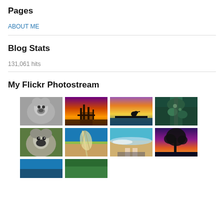Pages
ABOUT ME
Blog Stats
131,061 hits
My Flickr Photostream
[Figure (photo): Grid of 8+ nature/wildlife photos from Flickr photostream including koalas, sunsets, birds, beach scenes, and trees]
[Figure (photo): Bottom row partial photos including ocean/nature scenes]